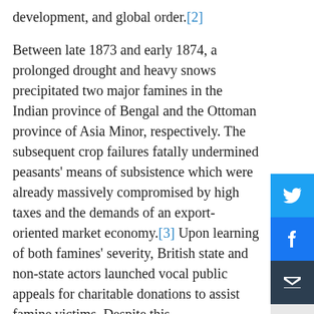development, and global order.[2]

Between late 1873 and early 1874, a prolonged drought and heavy snows precipitated two major famines in the Indian province of Bengal and the Ottoman province of Asia Minor, respectively. The subsequent crop failures fatally undermined peasants' means of subsistence which were already massively compromised by high taxes and the demands of an export-oriented market economy.[3] Upon learning of both famines' severity, British state and non-state actors launched vocal public appeals for charitable donations to assist famine victims. Despite this